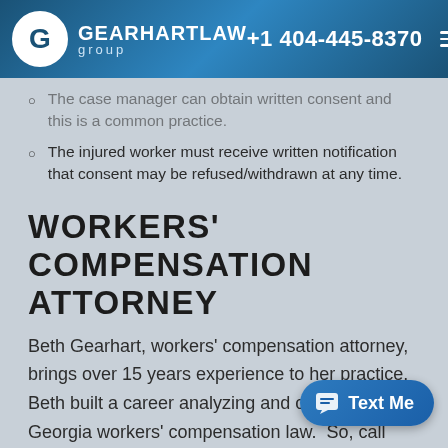GEARHARTLAW group | +1 404-445-8370
The case manager can obtain written consent and this is a common practice.
The injured worker must receive written notification that consent may be refused/withdrawn at any time.
WORKERS' COMPENSATION ATTORNEY
Beth Gearhart, workers' compensation attorney, brings over 15 years experience to her practice. Beth built a career analyzing and changes in Georgia workers' compensation law. So, call today to learn more about the new case